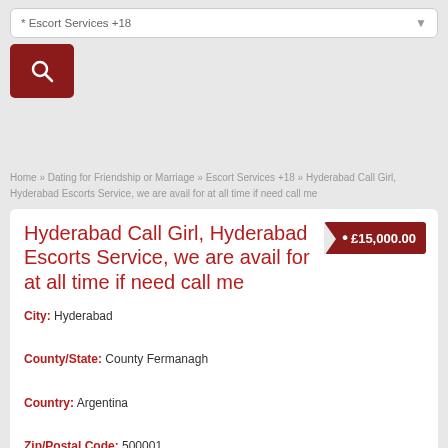* Escort Services +18
[Figure (screenshot): Dark red search button with magnifying glass icon]
Home » Dating for Friendship or Marriage » Escort Services +18 » Hyderabad Call Girl, Hyderabad Escorts Service, we are avail for at all time if need call me
Hyderabad Call Girl, Hyderabad Escorts Service, we are avail for at all time if need call me
• £15,000.00
City: Hyderabad
County/State: County Fermanagh
Country: Argentina
Zip/Postal Code: 500001
Listed: 13th January 2020 9:46 am
Expires: This ad has expired